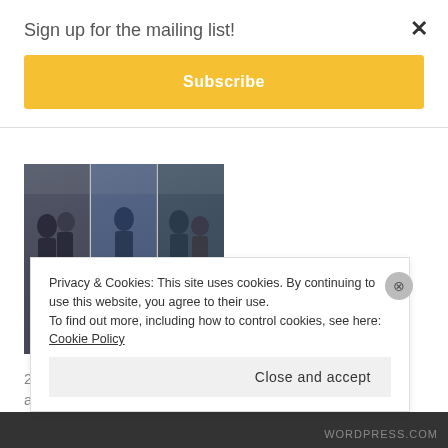Sign up for the mailing list!
Subscribe
[Figure (photo): Collage of three TV show characters standing in dark coats]
2013: the Year of New Shows and Old Favourites
December 31, 2013
In "Fandom"
Privacy & Cookies: This site uses cookies. By continuing to use this website, you agree to their use. To find out more, including how to control cookies, see here: Cookie Policy
Close and accept